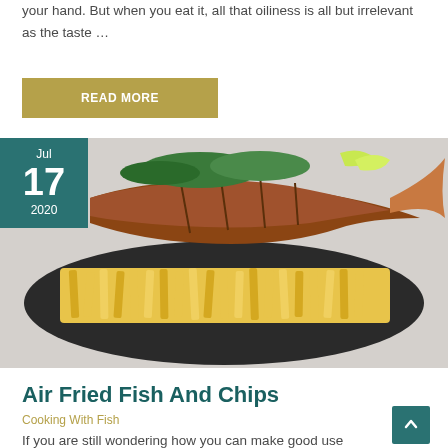your hand. But when you eat it, all that oiliness is all but irrelevant as the taste …
READ MORE
[Figure (photo): A plate of fried fish and chips with salad and lime garnish on a dark plate against a white background. Date badge overlay shows Jul 17 2020.]
Air Fried Fish And Chips
Cooking With Fish
If you are still wondering how you can make good use